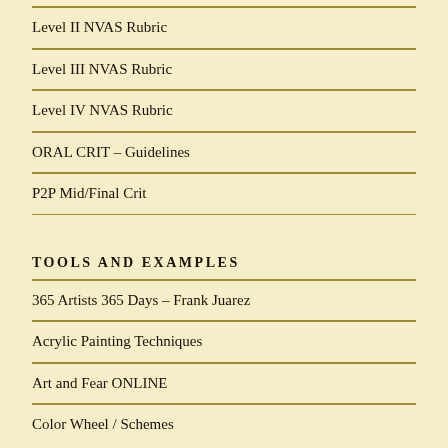Level II NVAS Rubric
Level III NVAS Rubric
Level IV NVAS Rubric
ORAL CRIT – Guidelines
P2P Mid/Final Crit
TOOLS AND EXAMPLES
365 Artists 365 Days – Frank Juarez
Acrylic Painting Techniques
Art and Fear ONLINE
Color Wheel / Schemes